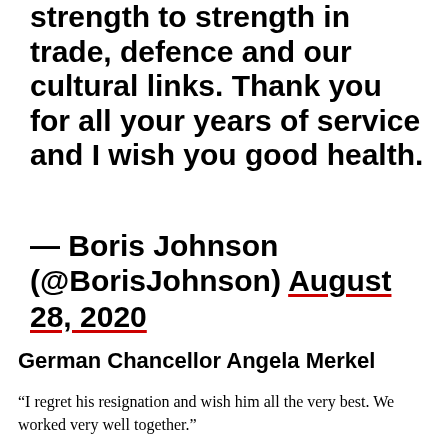strength to strength in trade, defence and our cultural links. Thank you for all your years of service and I wish you good health.
— Boris Johnson (@BorisJohnson) August 28, 2020
German Chancellor Angela Merkel
“I regret his resignation and wish him all the very best. We worked very well together.”